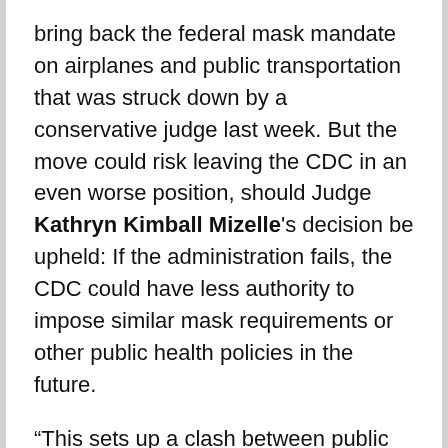bring back the federal mask mandate on airplanes and public transportation that was struck down by a conservative judge last week. But the move could risk leaving the CDC in an even worse position, should Judge Kathryn Kimball Mizelle's decision be upheld: If the administration fails, the CDC could have less authority to impose similar mask requirements or other public health policies in the future.
“This sets up a clash between public health and a conservative judiciary, and what’s riding on it is the future ability of our nation’s public health agencies to protect the American public,” as Lawrence O. Gostin, a public health law expert at Georgetown University, told the New York Times. “The data is...